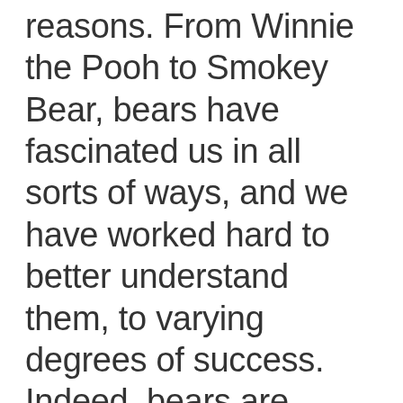reasons. From Winnie the Pooh to Smokey Bear, bears have fascinated us in all sorts of ways, and we have worked hard to better understand them, to varying degrees of success. Indeed, bears are indispensable members of ecosystems around the world. Through their foraging, they help spread the seeds of all sorts of trees, plants, and fruits, help control the population of other species in their environments, and also